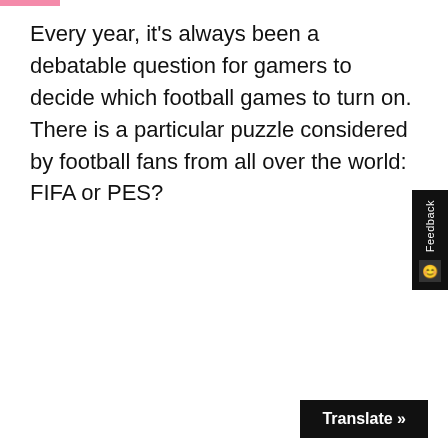Every year, it’s always been a debatable question for gamers to decide which football games to turn on. There is a particular puzzle considered by football fans from all over the world: FIFA or PES?
[Figure (other): Feedback tab widget on right side of page with 'Feedback' text rotated vertically and a smiley face icon]
Translate »